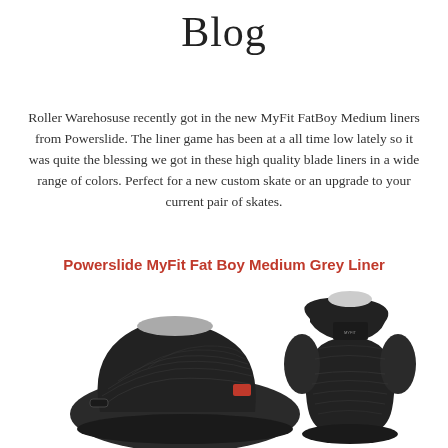Blog
Roller Warehosuse recently got in the new MyFit FatBoy Medium liners from Powerslide. The liner game has been at a all time low lately so it was quite the blessing we got in these high quality blade liners in a wide range of colors. Perfect for a new custom skate or an upgrade to your current pair of skates.
Powerslide MyFit Fat Boy Medium Grey Liner
[Figure (photo): Two MyFit FatBoy Medium Grey skate liners shown from different angles — one from the side showing the exterior texture and red logo tag, and one from the back showing the tall cuff structure]